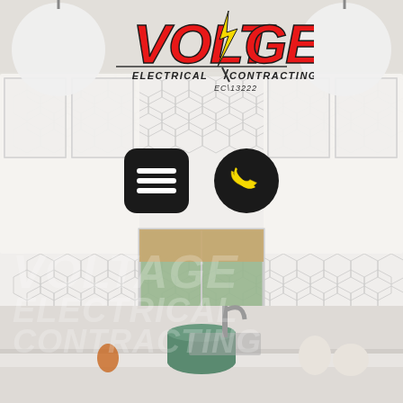[Figure (photo): Kitchen interior background photo with white hexagon tile backsplash, white cabinets with glass doors, pendant globe lights, window with roman shade, countertop with cookware and accessories]
[Figure (logo): Voltage Electrical Contracting logo — red bold italic VOLTAGE text with yellow lightning bolt, black italic ELECTRICAL / CONTRACTING subtitle, EC 13222 license number]
[Figure (infographic): Two app-style icons: a black rounded square with three white horizontal lines (menu icon) and a black circle with a yellow telephone handset (phone icon)]
VOLTAGE ELECTRICAL CONTRACTING (watermark)